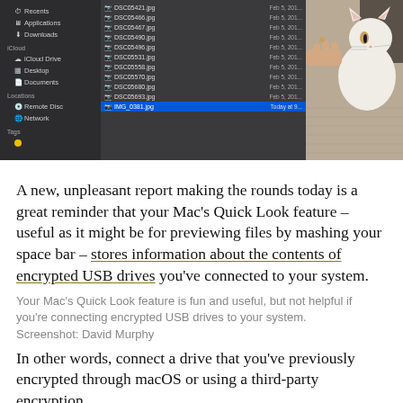[Figure (screenshot): Mac Finder window showing a file list of .jpg files with dates, alongside a photo of a white cat being offered a treat by a human hand.]
A new, unpleasant report making the rounds today is a great reminder that your Mac's Quick Look feature – useful as it might be for previewing files by mashing your space bar – stores information about the contents of encrypted USB drives you've connected to your system.
Your Mac's Quick Look feature is fun and useful, but not helpful if you're connecting encrypted USB drives to your system.
Screenshot: David Murphy
In other words, connect a drive that you've previously encrypted through macOS or using a third-party encryption